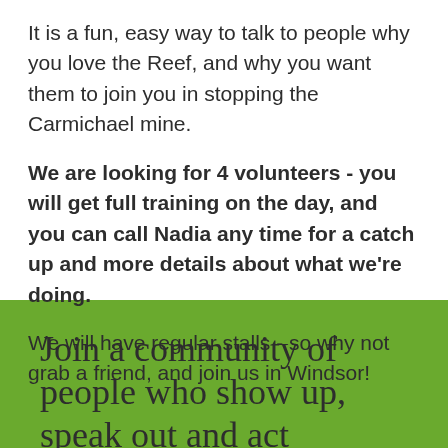It is a fun, easy way to talk to people why you love the Reef, and why you want them to join you in stopping the Carmichael mine.
We are looking for 4 volunteers - you will get full training on the day, and you can call Nadia any time for a catch up and more details about what we're doing.
We will have regular stalls - so why not grab a friend, and join us in Windsor!
Join a community of people who show up, speak out and act